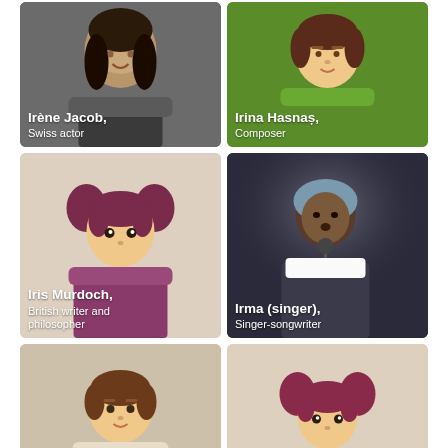[Figure (photo): Irène Jacob, Swiss actor – photo of a smiling dark-haired woman in a formal setting]
[Figure (illustration): Irina Hasnaș, Composer – illustrated avatar of a male figure on green background]
[Figure (illustration): Iris Murdoch, British writer and philosopher – illustrated avatar of a female figure with pigtails on beige background]
[Figure (photo): Irma (singer), Singer-songwriter – photo of a woman singing into a microphone]
[Figure (illustration): Irving S. Shapiro, American – illustrated avatar of a male figure on beige background]
[Figure (illustration): Isabel Yingüa Hernández – illustrated avatar of a female figure with pigtails on beige background]